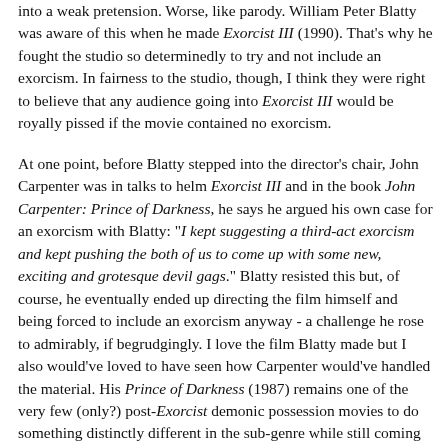into a weak pretension. Worse, like parody. William Peter Blatty was aware of this when he made Exorcist III (1990). That's why he fought the studio so determinedly to try and not include an exorcism. In fairness to the studio, though, I think they were right to believe that any audience going into Exorcist III would be royally pissed if the movie contained no exorcism.
At one point, before Blatty stepped into the director's chair, John Carpenter was in talks to helm Exorcist III and in the book John Carpenter: Prince of Darkness, he says he argued his own case for an exorcism with Blatty: "I kept suggesting a third-act exorcism and kept pushing the both of us to come up with some new, exciting and grotesque devil gags." Blatty resisted this but, of course, he eventually ended up directing the film himself and being forced to include an exorcism anyway - a challenge he rose to admirably, if begrudgingly. I love the film Blatty made but I also would've loved to have seen how Carpenter would've handled the material. His Prince of Darkness (1987) remains one of the very few (only?) post-Exorcist demonic possession movies to do something distinctly different in the sub-genre while still coming through on the visceral shocks that go with the